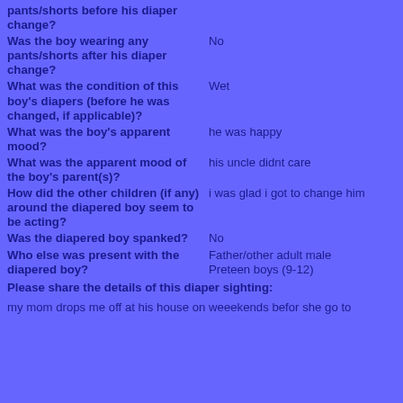pants/shorts before his diaper change?
Was the boy wearing any pants/shorts after his diaper change?	No
What was the condition of this boy's diapers (before he was changed, if applicable)?	Wet
What was the boy's apparent mood?	he was happy
What was the apparent mood of the boy's parent(s)?	his uncle didnt care
How did the other children (if any) around the diapered boy seem to be acting?	i was glad i got to change him
Was the diapered boy spanked?	No
Who else was present with the diapered boy?	Father/other adult male
Preteen boys (9-12)
Please share the details of this diaper sighting:
my mom drops me off at his house on weeekends befor she go to